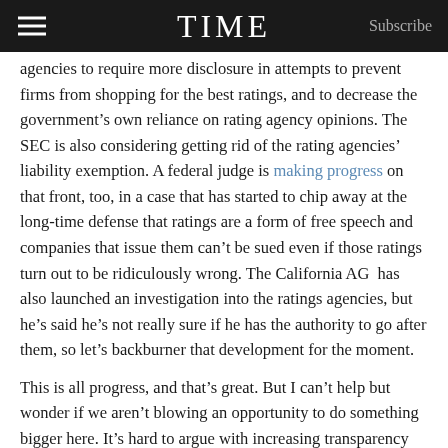TIME | Subscribe
agencies to require more disclosure in attempts to prevent firms from shopping for the best ratings, and to decrease the government’s own reliance on rating agency opinions. The SEC is also considering getting rid of the rating agencies’ liability exemption. A federal judge is making progress on that front, too, in a case that has started to chip away at the long-time defense that ratings are a form of free speech and companies that issue them can’t be sued even if those ratings turn out to be ridiculously wrong. The California AG has also launched an investigation into the ratings agencies, but he’s said he’s not really sure if he has the authority to go after them, so let’s backburner that development for the moment.
This is all progress, and that’s great. But I can’t help but wonder if we aren’t blowing an opportunity to do something bigger here. It’s hard to argue with increasing transparency and accountability and competition—even though increased competition among bond raters doesn’t necessarily do anything to increase the quality of ratings, as we’ve seen in both research and experience (there are 10 ratings agencies, but you only ever hear about 3 of them).